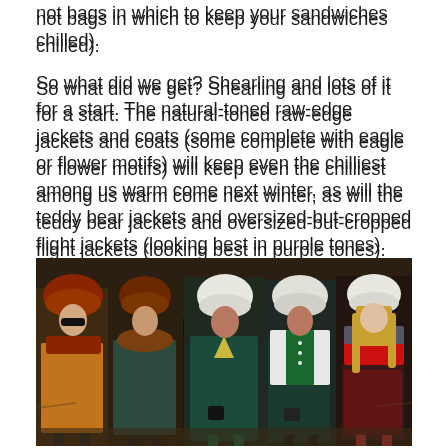not bags in which to keep your sandwiches chilled).
So what did we get? Shearling and lots of it for a start. The natural-toned raw-edge jackets and coats (some complete with eagle or flower motifs) will keep even the chilliest among us warm come next winter, as will the teddy bear jackets and oversized-but-cropped flight jackets (looking best in purple tones).
[Figure (photo): Five female fashion models walking a runway, each wearing different outfits. From left to right: model in orange floral dress with large fur hat and sunglasses; model in dark floral jumpsuit with fur collar and brown fur hat; model in dark teal patterned dress with white fluffy hat; model in dark floral dress with white and green cardigan and white fluffy hat; model in red top with dark floral skirt and white hat. Background shows a dark, arid landscape.]